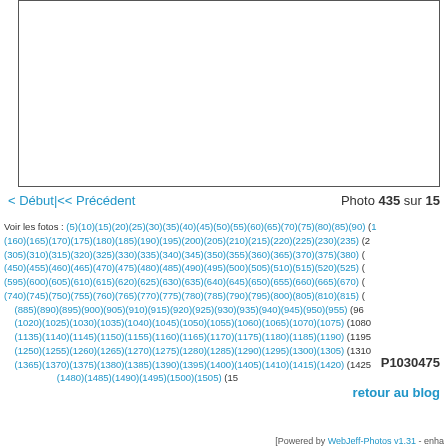[Figure (photo): Empty white photo display area with border]
< Début|<< Précédent         Photo 435 sur 15
Voir les fotos : (5)(10)(15)(20)(25)(30)(35)(40)(45)(50)(55)(60)(65)(70)(75)(80)(85)(90) (160)(165)(170)(175)(180)(185)(190)(195)(200)(205)(210)(215)(220)(225)(230)(235) (305)(310)(315)(320)(325)(330)(335)(340)(345)(350)(355)(360)(365)(370)(375)(380) (450)(455)(460)(465)(470)(475)(480)(485)(490)(495)(500)(505)(510)(515)(520)(525) (595)(600)(605)(610)(615)(620)(625)(630)(635)(640)(645)(650)(655)(660)(665)(670) (740)(745)(750)(755)(760)(765)(770)(775)(780)(785)(790)(795)(800)(805)(810)(815) (885)(890)(895)(900)(905)(910)(915)(920)(925)(930)(935)(940)(945)(950)(955)(960 (1020)(1025)(1030)(1035)(1040)(1045)(1050)(1055)(1060)(1065)(1070)(1075)(1080 (1135)(1140)(1145)(1150)(1155)(1160)(1165)(1170)(1175)(1180)(1185)(1190)(1195 (1250)(1255)(1260)(1265)(1270)(1275)(1280)(1285)(1290)(1295)(1300)(1305)(1310 (1365)(1370)(1375)(1380)(1385)(1390)(1395)(1400)(1405)(1410)(1415)(1420)(1425 (1480)(1485)(1490)(1495)(1500)(1505)(15
P1030475
retour au blog
[Powered by WebJeff-Photos v1.31 - enha